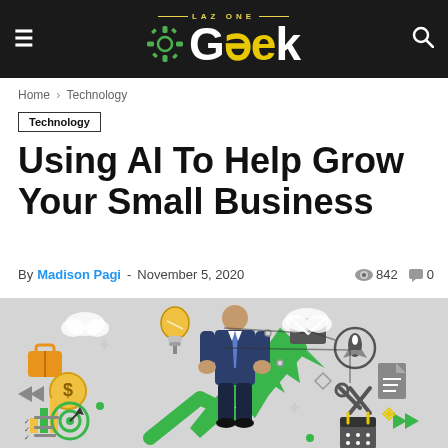Laz One Geek — website header with logo, hamburger menu, and search icon
Home > Technology
Technology
Using AI To Help Grow Your Small Business
By Madison Pagi - November 5, 2020   842   0
[Figure (illustration): Business person in suit holding a large green upward arrow, surrounded by business and technology icons on a grey background]